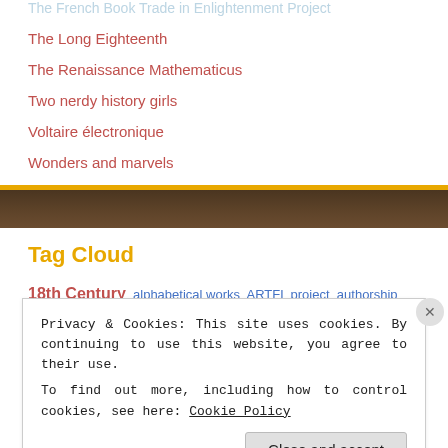The French Book Trade in Enlightenment Project
The Long Eighteenth
The Renaissance Mathematicus
Two nerdy history girls
Voltaire électronique
Wonders and marvels
[Figure (photo): Brown/dark banner image with faint figurative imagery]
Tag Cloud
18th Century  alphabetical works  ARTFL project  authorship  Bernardin de
Privacy & Cookies: This site uses cookies. By continuing to use this website, you agree to their use.
To find out more, including how to control cookies, see here: Cookie Policy
Close and accept